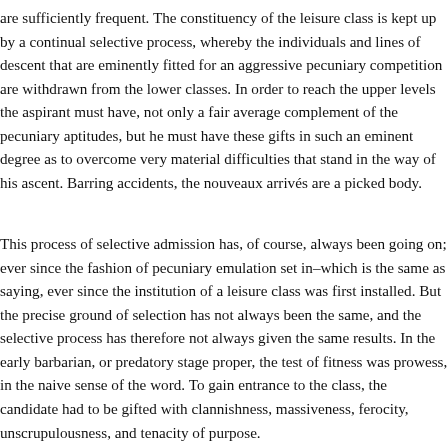are sufficiently frequent. The constituency of the leisure class is kept up by a continual selective process, whereby the individuals and lines of descent that are eminently fitted for an aggressive pecuniary competition are withdrawn from the lower classes. In order to reach the upper levels the aspirant must have, not only a fair average complement of the pecuniary aptitudes, but he must have these gifts in such an eminent degree as to overcome very material difficulties that stand in the way of his ascent. Barring accidents, the nouveaux arrivés are a picked body.
This process of selective admission has, of course, always been going on; ever since the fashion of pecuniary emulation set in–which is the same as saying, ever since the institution of a leisure class was first installed. But the precise ground of selection has not always been the same, and the selective process has therefore not always given the same results. In the early barbarian, or predatory stage proper, the test of fitness was prowess, in the naive sense of the word. To gain entrance to the class, the candidate had to be gifted with clannishness, massiveness, ferocity, unscrupulousness, and tenacity of purpose.